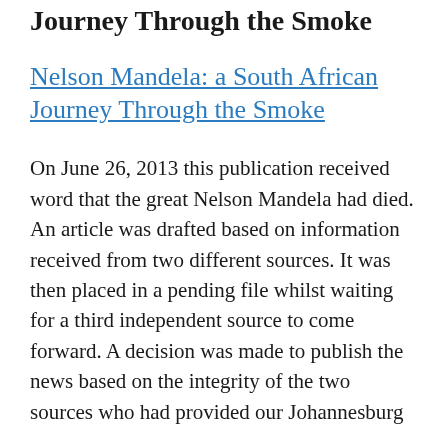Journey Through the Smoke
Nelson Mandela: a South African Journey Through the Smoke
On June 26, 2013 this publication received word that the great Nelson Mandela had died. An article was drafted based on information received from two different sources. It was then placed in a pending file whilst waiting for a third independent source to come forward. A decision was made to publish the news based on the integrity of the two sources who had provided our Johannesburg